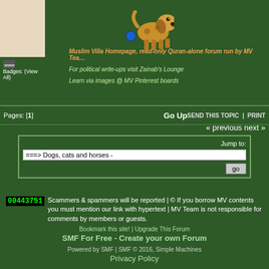[Figure (illustration): Cartoon dog illustration with a blue ball]
WWW
Badges: (View All)
Muslim Villa Homepage, read-only Quran-alone forum run by MV Team
For political write-ups visit Zainab's Lounge
Learn via images @ MV Pinterest boards
Pages: [1]   Go Up        SEND THIS TOPIC  |  PRINT
« previous next »
Jump to:
===> Dogs, cats and horses -
go
00443751  Scammers & spammers will be reported | © If you borrow MV contents you must mention our link with hypertext | MV Team is not responsible for comments by members or guests.
Bookmark this site! | Upgrade This Forum
SMF For Free - Create your own Forum
Powered by SMF | SMF © 2016, Simple Machines
Privacy Policy